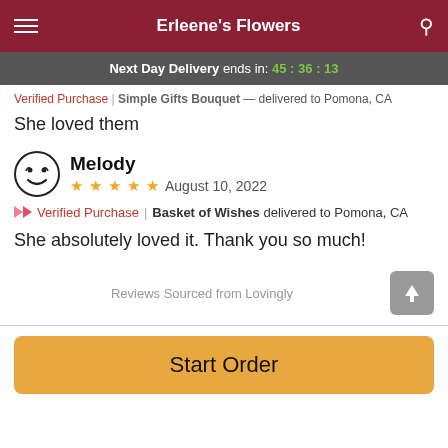Erleene's Flowers
Next Day Delivery ends in: 45 : 36 : 13
Verified Purchase | Simple Gifts Bouquet — delivered to Pomona, CA
She loved them
Melody — August 10, 2022 — 4 stars — Verified Purchase | Basket of Wishes delivered to Pomona, CA
She absolutely loved it. Thank you so much!
Reviews Sourced from Lovingly
Start Order